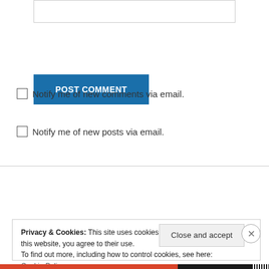[Figure (screenshot): Top input text box (partially cut off at top of page)]
POST COMMENT
Notify me of new comments via email.
Notify me of new posts via email.
[Figure (screenshot): Search input box with placeholder 'Search ...']
Privacy & Cookies: This site uses cookies. By continuing to use this website, you agree to their use.
To find out more, including how to control cookies, see here: Cookie Policy
Close and accept